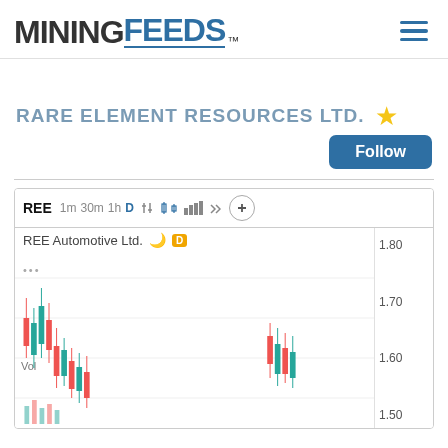[Figure (logo): MiningFeeds logo with MINING in dark gray bold and FEEDS in blue bold with TM superscript]
RARE ELEMENT RESOURCES LTD. ★
Follow
[Figure (screenshot): Stock chart for REE (REE Automotive Ltd.) candlestick chart showing price levels 1.50, 1.60, 1.70, 1.80 with toolbar showing 1m 30m 1h D timeframes and chart controls]